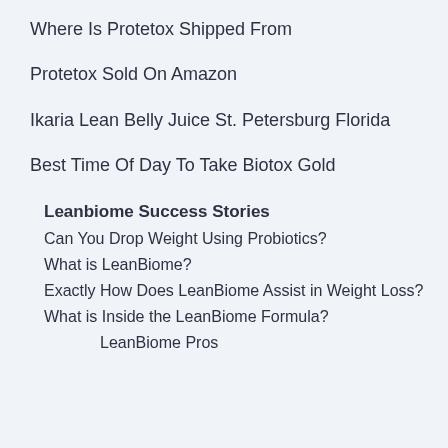Where Is Protetox Shipped From
Protetox Sold On Amazon
Ikaria Lean Belly Juice St. Petersburg Florida
Best Time Of Day To Take Biotox Gold
Leanbiome Success Stories
Can You Drop Weight Using Probiotics?
What is LeanBiome?
Exactly How Does LeanBiome Assist in Weight Loss?
What is Inside the LeanBiome Formula?
LeanBiome Pros